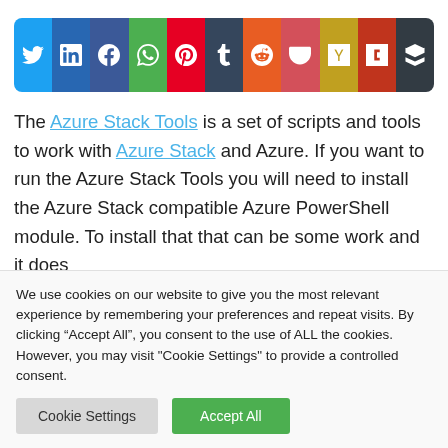[Figure (other): Social media sharing buttons bar with icons for Twitter, LinkedIn, Facebook, WhatsApp, Pinterest, Tumblr, Reddit, Pocket, Hacker News, Flipboard, Buffer]
The Azure Stack Tools is a set of scripts and tools to work with Azure Stack and Azure. If you want to run the Azure Stack Tools you will need to install the Azure Stack compatible Azure PowerShell module. To install that that can be some work and it does
We use cookies on our website to give you the most relevant experience by remembering your preferences and repeat visits. By clicking “Accept All”, you consent to the use of ALL the cookies. However, you may visit "Cookie Settings" to provide a controlled consent.